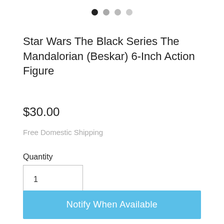[Figure (other): Pagination dots: one filled black dot followed by three gray dots]
Star Wars The Black Series The Mandalorian (Beskar) 6-Inch Action Figure
$30.00
Free Domestic Shipping
Quantity
1
Out of Stock
Notify When Available